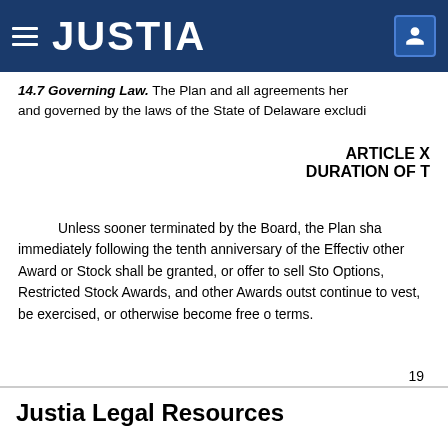JUSTIA
14.7 Governing Law. The Plan and all agreements her and governed by the laws of the State of Delaware excludi
ARTICLE X
DURATION OF T
Unless sooner terminated by the Board, the Plan sha immediately following the tenth anniversary of the Effectiv other Award or Stock shall be granted, or offer to sell Sto Options, Restricted Stock Awards, and other Awards outst continue to vest, be exercised, or otherwise become free o terms.
19
Justia Legal Resources